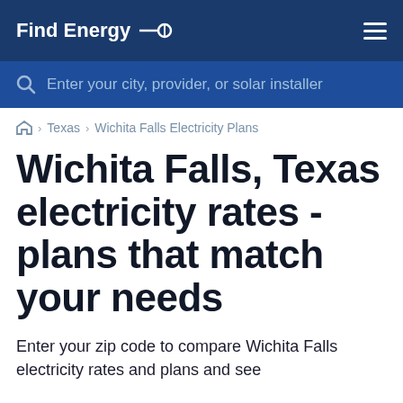Find Energy
Enter your city, provider, or solar installer
🏠 › Texas › Wichita Falls Electricity Plans
Wichita Falls, Texas electricity rates - plans that match your needs
Enter your zip code to compare Wichita Falls electricity rates and plans and see